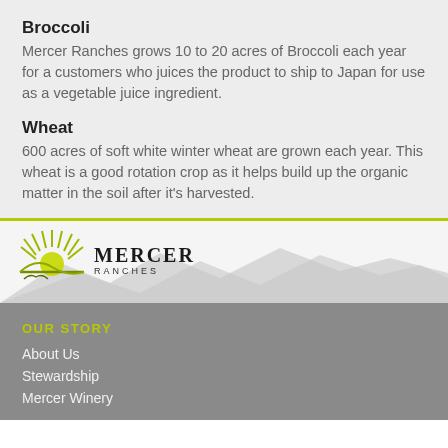Broccoli
Mercer Ranches grows 10 to 20 acres of Broccoli each year for a customers who juices the product to ship to Japan for use as a vegetable juice ingredient.
Wheat
600 acres of soft white winter wheat are grown each year. This wheat is a good rotation crop as it helps build up the organic matter in the soil after it's harvested.
[Figure (logo): Mercer Ranches logo with sun rays and mountain imagery]
OUR STORY
About Us
Stewardship
Mercer Winery